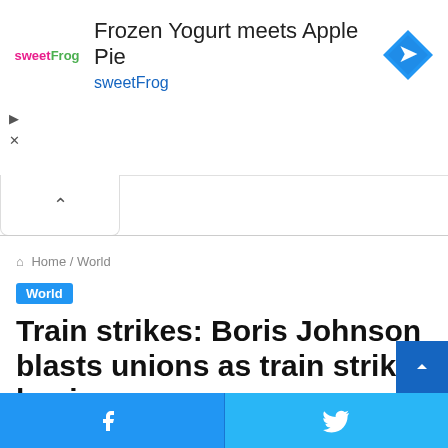[Figure (other): Advertisement banner for sweetFrog frozen yogurt featuring logo, tagline 'Frozen Yogurt meets Apple Pie', brand name 'sweetFrog', and a blue diamond navigation icon]
Home / World
World
Train strikes: Boris Johnson blasts unions as train strike begins